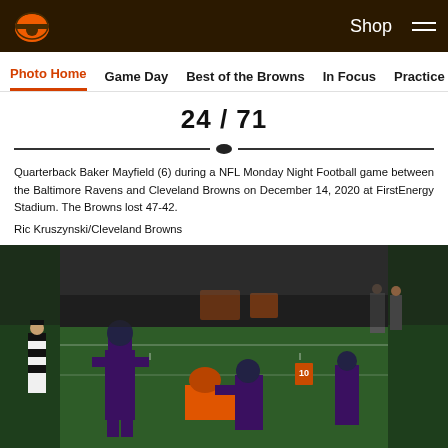Cleveland Browns website header with logo, Shop link, and hamburger menu
Photo Home  Game Day  Best of the Browns  In Focus  Practice
24 / 71
Quarterback Baker Mayfield (6) during a NFL Monday Night Football game between the Baltimore Ravens and Cleveland Browns on December 14, 2020 at FirstEnergy Stadium. The Browns lost 47-42.
Ric Kruszynski/Cleveland Browns
[Figure (photo): NFL Monday Night Football action photo: Baltimore Ravens players (in purple uniforms) and Cleveland Browns players on the field at night game. A referee in black-and-white stripes is visible on the left. Players are engaged at the line of scrimmage on a green turf field.]